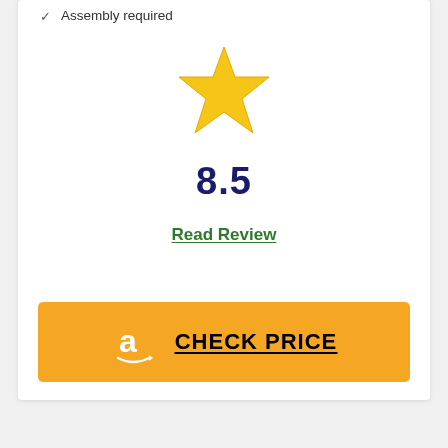Assembly required
[Figure (illustration): A large gold/yellow five-pointed star icon]
8.5
Read Review
[Figure (logo): Amazon logo with CHECK PRICE button on orange background]